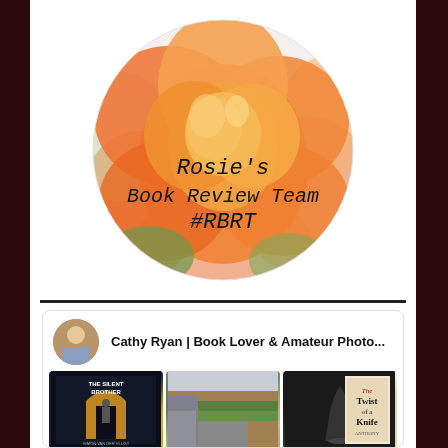[Figure (logo): Circular logo with an orange rose flower and text 'Rosie's Book Review Team #RBRT' overlaid in handwritten-style font]
[Figure (screenshot): Social media card for 'Cathy Ryan | Book Lover & Amateur Photo...' showing a profile avatar and three thumbnail images: a book cover 'The Silent Brother', a street/building photo, and a book cover 'The Twist of a Knife' by Anthony]